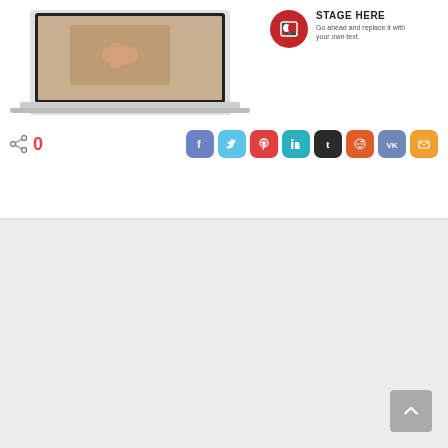[Figure (screenshot): Laptop computer showing a hand touching/pointing at the screen, displayed on a MacBook-style laptop]
[Figure (infographic): Red rotary telephone icon in a circle with text 'STAGE HERE' and 'Go ahead and replace it with your own text.']
0
[Figure (infographic): Social media share buttons: Facebook, Twitter, Pinterest, LinkedIn, Tumblr, Reddit, VK, Email - all as rounded square icons in respective brand colors, plus a share icon with count 0]